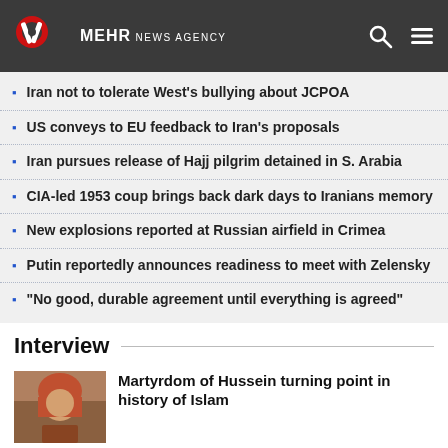MEHR NEWS AGENCY
Iran not to tolerate West's bullying about JCPOA
US conveys to EU feedback to Iran's proposals
Iran pursues release of Hajj pilgrim detained in S. Arabia
CIA-led 1953 coup brings back dark days to Iranians memory
New explosions reported at Russian airfield in Crimea
Putin reportedly announces readiness to meet with Zelensky
"No good, durable agreement until everything is agreed"
Interview
[Figure (photo): Photo of a woman in a headscarf]
Martyrdom of Hussein turning point in history of Islam
[Figure (photo): Partial photo of another interview subject]
Imam Khomeini gave us impetus to topple apartheid